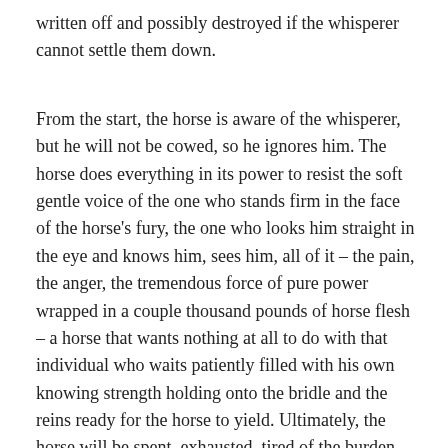written off and possibly destroyed if the whisperer cannot settle them down.
From the start, the horse is aware of the whisperer, but he will not be cowed, so he ignores him. The horse does everything in its power to resist the soft gentle voice of the one who stands firm in the face of the horse's fury, the one who looks him straight in the eye and knows him, sees him, all of it – the pain, the anger, the tremendous force of pure power wrapped in a couple thousand pounds of horse flesh – a horse that wants nothing at all to do with that individual who waits patiently filled with his own knowing strength holding onto the bridle and the reins ready for the horse to yield. Ultimately, the horse will be spent, exhausted, tired of the burden, overcome and lost with no focus or direction and will finally lower his head meekly – not in weakness – but in strength –